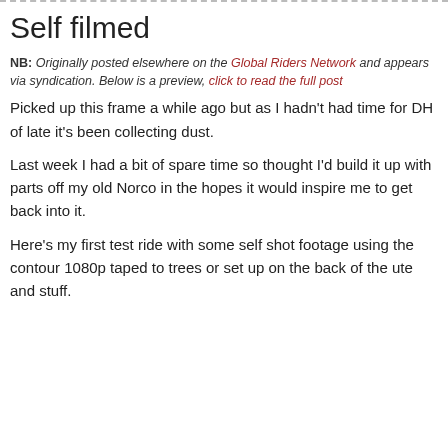Self filmed
NB: Originally posted elsewhere on the Global Riders Network and appears via syndication. Below is a preview, click to read the full post
Picked up this frame a while ago but as I hadn't had time for DH of late it's been collecting dust.
Last week I had a bit of spare time so thought I'd build it up with parts off my old Norco in the hopes it would inspire me to get back into it.
Here's my first test ride with some self shot footage using the contour 1080p taped to trees or set up on the back of the ute and stuff.
http://youtu.be/R-xLEsQY5rk
The verdict?